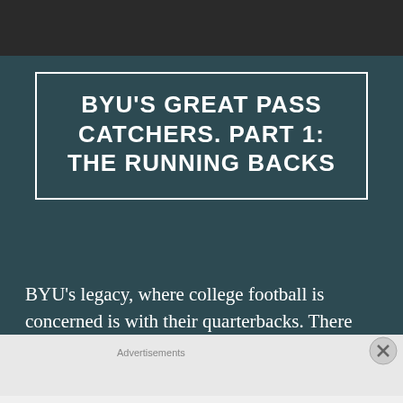BYU'S GREAT PASS CATCHERS. PART 1: THE RUNNING BACKS
BYU's legacy, where college football is concerned is with their quarterbacks. There
Advertisements